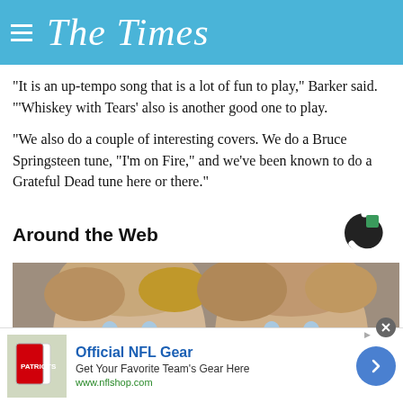The Times
"It is an up-tempo song that is a lot of fun to play," Barker said. "'Whiskey with Tears' also is another good one to play.
"We also do a couple of interesting covers. We do a Bruce Springsteen tune, "I'm on Fire," and we've been known to do a Grateful Dead tune here or there."
Around the Web
[Figure (photo): Close-up photo of two young girls with light hair, faces side by side]
[Figure (logo): Taboola logo - circular C shape with green square cutout]
Official NFL Gear
Get Your Favorite Team's Gear Here
www.nflshop.com